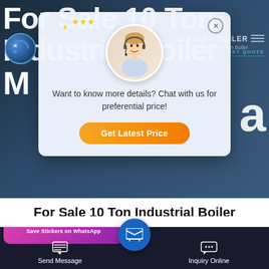[Figure (screenshot): Website hero background showing industrial boiler facility with dark blue gradient overlay and large white title text: 'For Sale 10 Ton Industrial Boiler Machine Latvia'. Rocbo logo visible top left. A chat popup overlay shows a customer service agent avatar, stars, text 'Want to know more details? Chat with us for preferential price!' and an orange 'Get Latest Price' button.]
For Sale 10 Ton Industrial Boiler Machine Latvia
[Figure (screenshot): Bottom navigation bar with dark background. Left: 'Save Stickers on WhatsApp' purple/pink card. Three action buttons: 'Send Message', center blue circle with envelope icon, 'Inquiry Online'.]